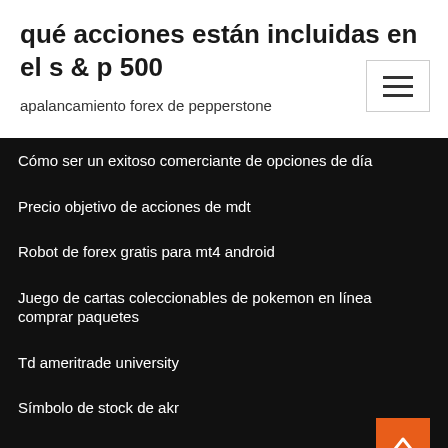qué acciones están incluidas en el s & p 500
apalancamiento forex de pepperstone
Cómo ser un exitoso comerciante de opciones de día
Precio objetivo de acciones de mdt
Robot de forex gratis para mt4 android
Juego de cartas coleccionables de pokemon en línea comprar paquetes
Td ameritrade university
Símbolo de stock de akr
Su infinito chandler comercial az